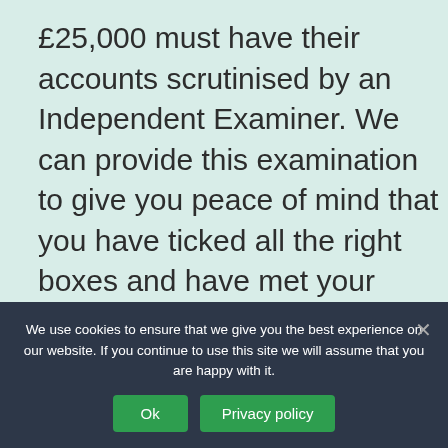£25,000 must have their accounts scrutinised by an Independent Examiner. We can provide this examination to give you peace of mind that you have ticked all the right boxes and have met your obligations as Trustees.
Where you need help in preparing service. You funds when you
We use cookies to ensure that we give you the best experience on our website. If you continue to use this site we will assume that you are happy with it.